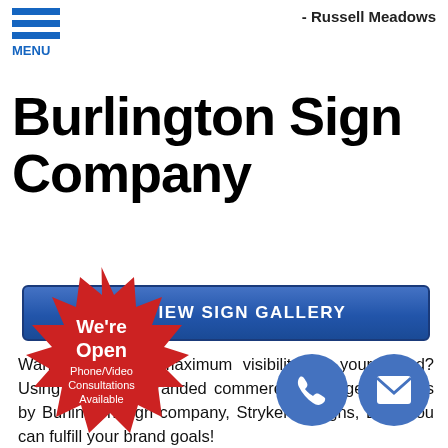- Russell Meadows
[Figure (illustration): Hamburger menu icon with three blue horizontal bars and MENU label in blue]
Burlington Sign Company
[Figure (illustration): Blue button with eye icon reading VIEW SIGN GALLERY]
Want to produce maximum visibility for your brand? Using attractive, branded commercial signage products by Burlington sign company, Stryker Designs, LLC, you can fulfill your brand goals!
[Figure (illustration): Red starburst badge with text: We're Open Phone/Video Consultations Available]
[Figure (illustration): Two blue circle buttons: phone icon and email/envelope icon]